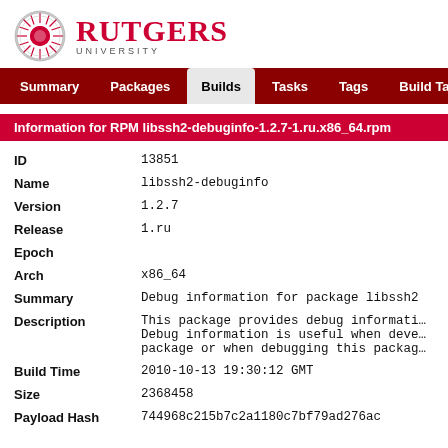[Figure (logo): Rutgers University logo with circular seal and red text]
Summary | Packages | Builds | Tasks | Tags | Build Targets
Information for RPM libssh2-debuginfo-1.2.7-1.ru.x86_64.rpm
| Field | Value |
| --- | --- |
| ID | 13851 |
| Name | libssh2-debuginfo |
| Version | 1.2.7 |
| Release | 1.ru |
| Epoch |  |
| Arch | x86_64 |
| Summary | Debug information for package libssh2 |
| Description | This package provides debug information for package libssh2. Debug information is useful when developing applications that use this package or when debugging this package. |
| Build Time | 2010-10-13 19:30:12 GMT |
| Size | 2368458 |
| Payload Hash | 744968c215b7c2a1180c7bf79ad276ac |